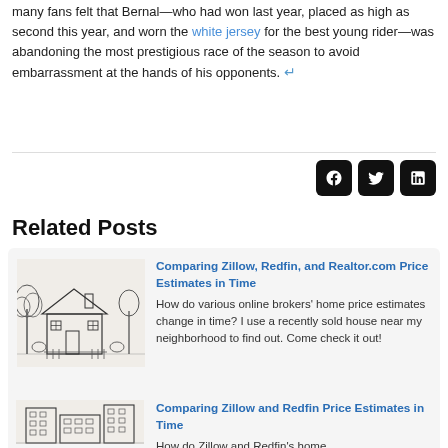many fans felt that Bernal—who had won last year, placed as high as second this year, and worn the white jersey for the best young rider—was abandoning the most prestigious race of the season to avoid embarrassment at the hands of his opponents. ↵
[Figure (other): Social media share icons: Facebook, Twitter, LinkedIn]
Related Posts
[Figure (illustration): Sketch illustration of a house with trees]
Comparing Zillow, Redfin, and Realtor.com Price Estimates in Time
How do various online brokers' home price estimates change in time? I use a recently sold house near my neighborhood to find out. Come check it out!
[Figure (illustration): Sketch illustration of a building]
Comparing Zillow and Redfin Price Estimates in Time
How do Zillow and Redfin's home